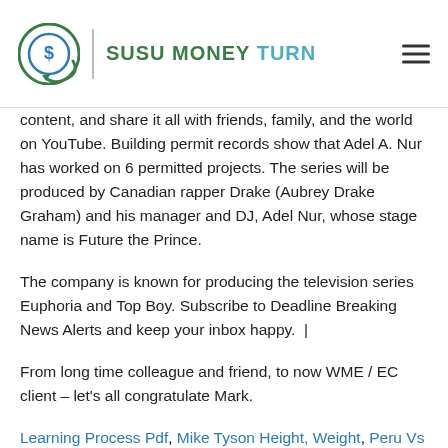SUSU MONEY TURN
content, and share it all with friends, family, and the world on YouTube. Building permit records show that Adel A. Nur has worked on 6 permitted projects. The series will be produced by Canadian rapper Drake (Aubrey Drake Graham) and his manager and DJ, Adel Nur, whose stage name is Future the Prince.
The company is known for producing the television series Euphoria and Top Boy. Subscribe to Deadline Breaking News Alerts and keep your inbox happy.  |
From long time colleague and friend, to now WME / EC client – let's all congratulate Mark.
Learning Process Pdf, Mike Tyson Height, Weight, Peru Vs England, Retiring To Germany From Uk, Western Sydney University Acceptance Rate, Northwestern University